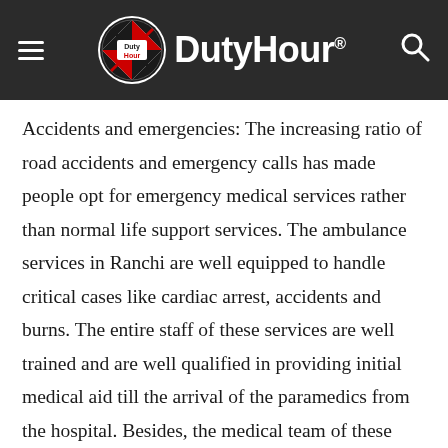Duty Hour
Accidents and emergencies: The increasing ratio of road accidents and emergency calls has made people opt for emergency medical services rather than normal life support services. The ambulance services in Ranchi are well equipped to handle critical cases like cardiac arrest, accidents and burns. The entire staff of these services are well trained and are well qualified in providing initial medical aid till the arrival of the paramedics from the hospital. Besides, the medical team of these ambulance services are well equipped with advanced life support equipment such as ventilators, anaesthetic machines, ECG machines, and monitoring equipment.